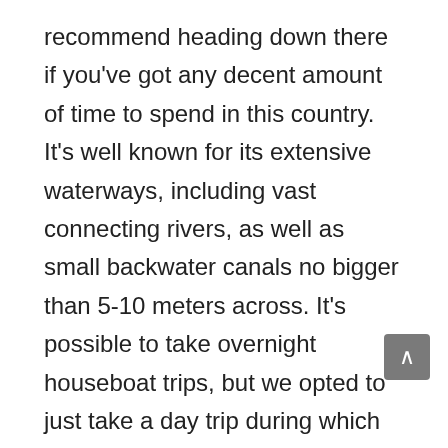recommend heading down there if you've got any decent amount of time to spend in this country. It's well known for its extensive waterways, including vast connecting rivers, as well as small backwater canals no bigger than 5-10 meters across. It's possible to take overnight houseboat trips, but we opted to just take a day trip during which we cruised around the bigger rivers on a small motor boat for a few hours, then after lunch explored the smaller backwaters on a little gondola-like canoe. I convinced the guide to let me push the gondola for a few minutes and definitely came close to falling into the water… But didn't! It would have been great for the post – and any passing crocodiles, but not so much for me, my camera and my fellow shipmates,